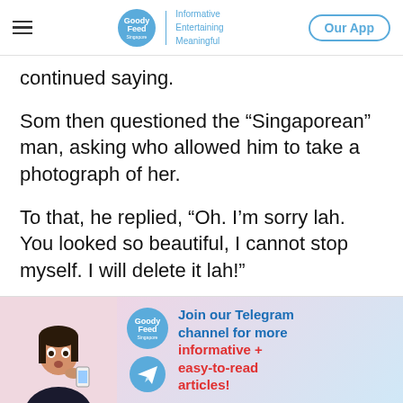Goody Feed | Informative Entertaining Meaningful | Our App
continued saying.
Som then questioned the “Singaporean” man, asking who allowed him to take a photograph of her.
To that, he replied, “Oh. I’m sorry lah. You looked so beautiful, I cannot stop myself. I will delete it lah!”
[Figure (infographic): Goody Feed Telegram channel advertisement banner with a woman looking surprised at her phone, Goody Feed logo, Telegram logo, and text: Join our Telegram channel for more informative + easy-to-read articles!]